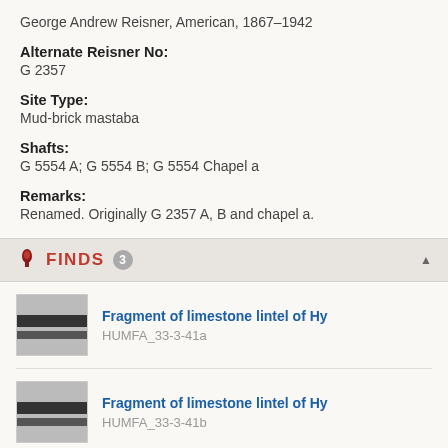George Andrew Reisner, American, 1867–1942
Alternate Reisner No:
G 2357
Site Type:
Mud-brick mastaba
Shafts:
G 5554 A; G 5554 B; G 5554 Chapel a
Remarks:
Renamed. Originally G 2357 A, B and chapel a.
FINDS 3
[Figure (photo): Thumbnail photo of Fragment of limestone lintel of Hy]
Fragment of limestone lintel of Hy
HUMFA_33-3-41a
[Figure (photo): Thumbnail photo of Fragment of limestone lintel of Hy]
Fragment of limestone lintel of Hy
HUMFA_33-3-41b